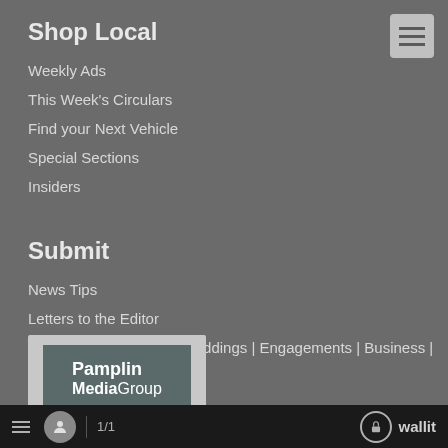Shop Local
Weekly Ads
This Week's Circulars
Find your Next Vehicle
Special Sections
Insiders
Submit
News Tips
Letters to the Editor
Births | Anniversaries | Weddings | Engagements | Business | Birthday | Obituaries
Community Calendar
[Figure (logo): Pamplin MediaGroup logo on grey background]
≡  👤  1/1  🔒 wallit